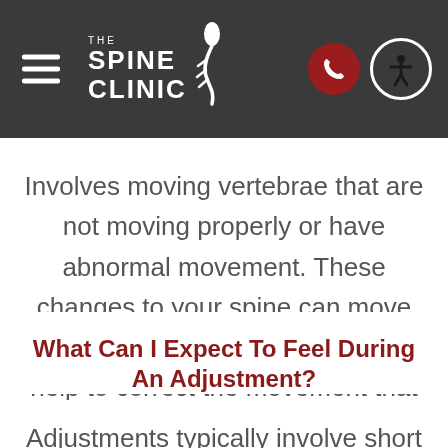The Spine Clinic
Involves moving vertebrae that are not moving properly or have abnormal movement. These changes to your spine can move the vertebrae back into place or help to correct the movement that is causing you discomfort.
What Can I Expect To Feel During An Adjustment?
Adjustments typically involve short and fast